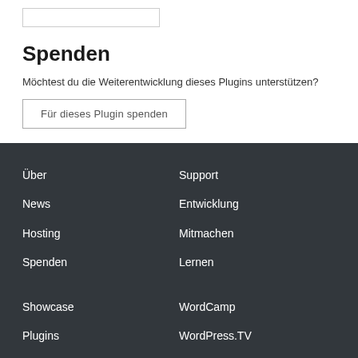Spenden
Möchtest du die Weiterentwicklung dieses Plugins unterstützen?
Für dieses Plugin spenden
Über
News
Hosting
Spenden
Support
Entwicklung
Mitmachen
Lernen
Showcase
WordCamp
Plugins
WordPress.TV